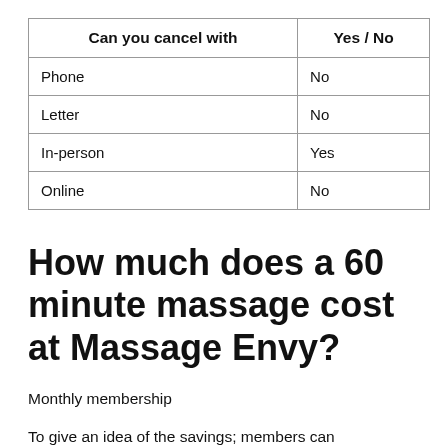| Can you cancel with | Yes / No |
| --- | --- |
| Phone | No |
| Letter | No |
| In-person | Yes |
| Online | No |
How much does a 60 minute massage cost at Massage Envy?
Monthly membership
To give an idea of the savings; members can